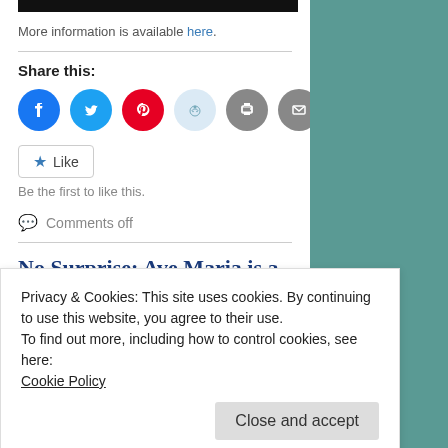[Figure (other): Black bar at top of article content]
More information is available here.
Share this:
[Figure (infographic): Social share icons: Facebook, Twitter, Pinterest, Reddit, Print, Email]
[Figure (other): Like button with star icon]
Be the first to like this.
Comments off
No Surprise: Ave Maria is a rapidly growing traditional
Privacy & Cookies: This site uses cookies. By continuing to use this website, you agree to their use.
To find out more, including how to control cookies, see here:
Cookie Policy
Close and accept